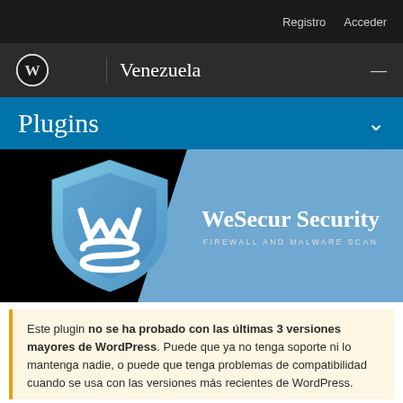Registro   Acceder
WordPress Venezuela
Plugins
[Figure (screenshot): WeSecur Security plugin banner image: black background on left with a blue shield logo featuring a stylized 'WS', and a blue diagonal section on the right with text 'WeSecur Security' and 'FIREWALL AND MALWARE SCAN']
Este plugin no se ha probado con las últimas 3 versiones mayores de WordPress. Puede que ya no tenga soporte ni lo mantenga nadie, o puede que tenga problemas de compatibilidad cuando se usa con las versiones más recientes de WordPress.